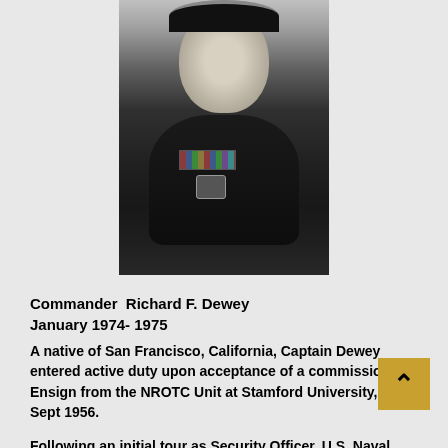[Figure (photo): Black and white portrait photograph of Commander Richard F. Dewey in Navy dress uniform with cap, ribbons, and badge.]
Commander  Richard F. Dewey
January 1974- 1975
A native of San Francisco, California, Captain Dewey entered active duty upon acceptance of a commission as Ensign from the NROTC Unit at Stamford University, on 6 Sept 1956.
Following an initial tour as Security Officer, U.S. Naval District Headquarters, Oakland, California, he served aboard...